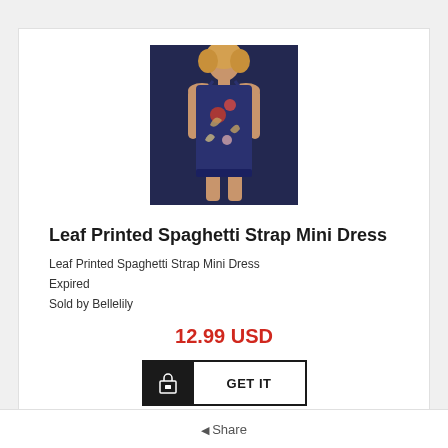[Figure (photo): Product photo of a navy blue floral/leaf printed spaghetti strap mini dress worn by a woman with blonde hair]
Leaf Printed Spaghetti Strap Mini Dress
Leaf Printed Spaghetti Strap Mini Dress
Expired
Sold by Bellelily
12.99 USD
GET IT
◀ Share